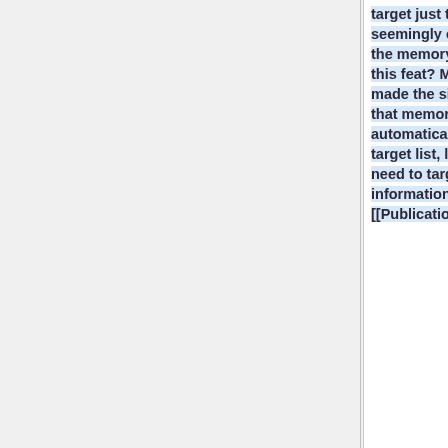target just the right information, seemingly effortlessly. How does the memory system accomplish this feat? Most previous models made the simplifying assumption that memory search is automatically restricted to a target list, largely bypassing the need to target the right information. [[Publications#